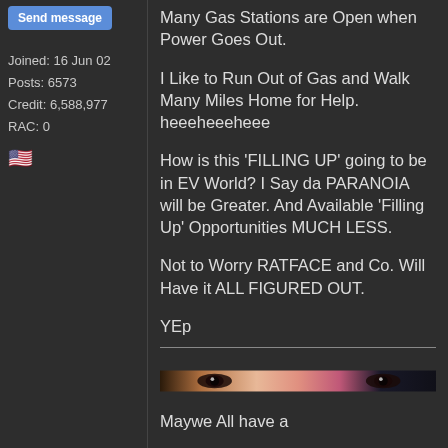Send message
Joined: 16 Jun 02
Posts: 6573
Credit: 6,588,977
RAC: 0
[Figure (illustration): US flag emoji]
Many Gas Stations are Open when Power Goes Out.
I Like to Run Out of Gas and Walk Many Miles Home for Help. heeeheeeheee
How is this 'FILLING UP' going to be in EV World? I Say da PARANOIA will be Greater. And Available 'Filling Up' Opportunities MUCH LESS.
Not to Worry RATFACE and Co. Will Have it ALL FIGURED OUT.
YEp
[Figure (photo): Banner advertisement image showing close-up eyes]
Maywe All have a